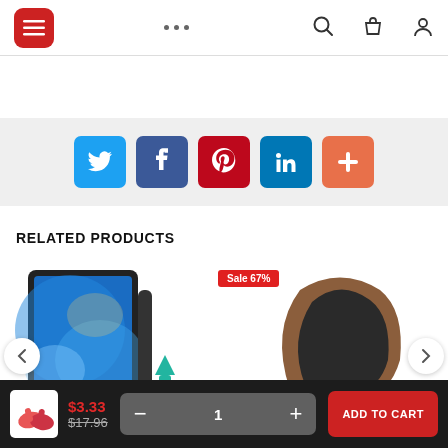[Figure (screenshot): E-commerce mobile page showing navigation bar with hamburger menu (red), dots, search, bag, and user icons]
[Figure (infographic): Social media share buttons: Twitter (blue), Facebook (dark blue), Pinterest (red), LinkedIn (blue), Plus (orange)]
RELATED PRODUCTS
[Figure (photo): Product image: tablet on a phone/tablet stand, showing blue wallpaper screen]
[Figure (photo): Product image: black adjustable phone/tablet stand with teal arrow indicator, Sale 67% badge]
$3.33
$17.96
ADD TO CART